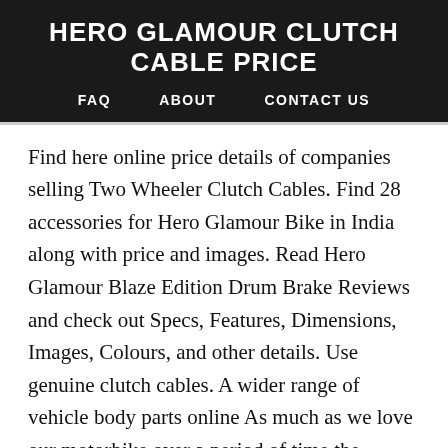HERO GLAMOUR CLUTCH CABLE PRICE
FAQ   ABOUT   CONTACT US
Find here online price details of companies selling Two Wheeler Clutch Cables. Find 28 accessories for Hero Glamour Bike in India along with price and images. Read Hero Glamour Blaze Edition Drum Brake Reviews and check out Specs, Features, Dimensions, Images, Colours, and other details. Use genuine clutch cables. A wider range of vehicle body parts online As much as we love our motorbike over a period of time the vehicle body parts start to worn out and have to be replaced. Add to Wishlist. Check BS6 Model Mileage, Colors,